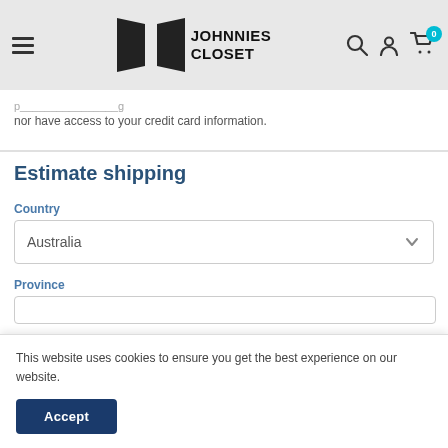Johnnies Closet — navigation header with logo, search, account, and cart icons
nor have access to your credit card information.
Estimate shipping
Country
Australia
Province
This website uses cookies to ensure you get the best experience on our website.